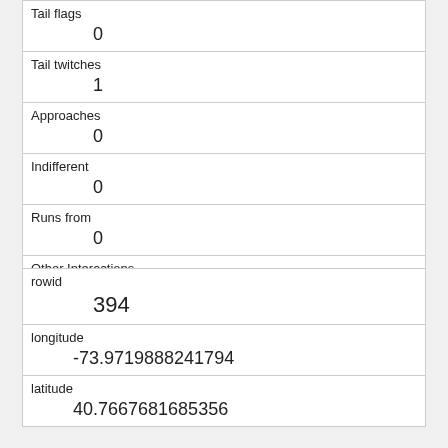| Tail flags | 0 |
| Tail twitches | 1 |
| Approaches | 0 |
| Indifferent | 0 |
| Runs from | 0 |
| Other Interactions | froze,sight of dogs |
| Lat/Long | POINT (-73.9578316525492 40.7890102959629) |
| rowid | 394 |
| longitude | -73.9719888241794 |
| latitude | 40.7667681685356 |